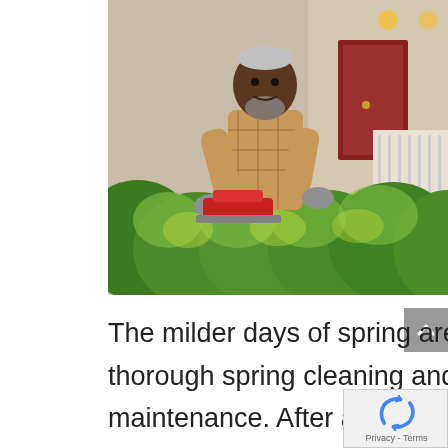[Figure (photo): An elderly Black man wearing a plaid shirt and gray gloves uses a red electric hedge trimmer to trim green bushes in front of a house. The house has a brick facade, white porch railing, and a red door visible in the background.]
The milder days of spring are a perfect time to do a thorough spring cleaning and perform home maintenance. After a long winter, it is a good idea to spend time on preventive measures to help